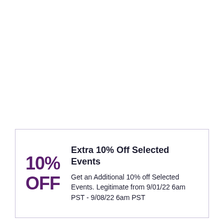Extra 10% Off Selected Events
Get an Additional 10% off Selected Events. Legitimate from 9/01/22 6am PST - 9/08/22 6am PST